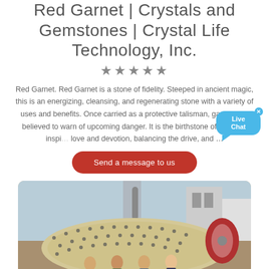Red Garnet | Crystals and Gemstones | Crystal Life Technology, Inc.
[Figure (other): Five black star rating symbols]
Red Garnet. Red Garnet is a stone of fidelity. Steeped in ancient magic, this is an energizing, cleansing, and regenerating stone with a variety of uses and benefits. Once carried as a protective talisman, garnet was believed to warn of upcoming danger. It is the birthstone of January, inspiring love and devotion, balancing the drive, and ...
[Figure (other): Live Chat bubble widget with close X button, cyan/blue color]
[Figure (other): Red rounded rectangle button labeled 'Send a message to us']
[Figure (photo): Industrial ball mill machinery with large cylindrical vessel with bolts, industrial buildings in background, four people standing in front]